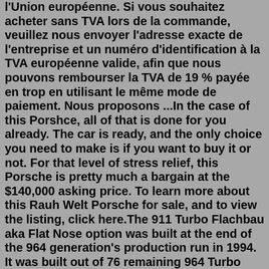(...) pour les acheteurs au sein de l'Union européenne. Si vous souhaitez acheter sans TVA lors de la commande, veuillez nous envoyer l'adresse exacte de l'entreprise et un numéro d'identification à la TVA européenne valide, afin que nous pouvons rembourser la TVA de 19 % payée en trop en utilisant le même mode de paiement. Nous proposons ...In the case of this Porshce, all of that is done for you already. The car is ready, and the only choice you need to make is if you want to buy it or not. For that level of stress relief, this Porsche is pretty much a bargain at the $140,000 asking price. To learn more about this Rauh Welt Porsche for sale, and to view the listing, click here.The 911 Turbo Flachbau aka Flat Nose option was built at the end of the 964 generation's production run in 1994. It was built out of 76 remaining 964 Turbo chassis Porsche had in its factory.Purchase this beautiful Porsche 964 Turbo from Performance Auto Contact us in Miami at 305-477-0517 or visit us online at . Buy with confidence. God Bless America!! Vehicle Photos: